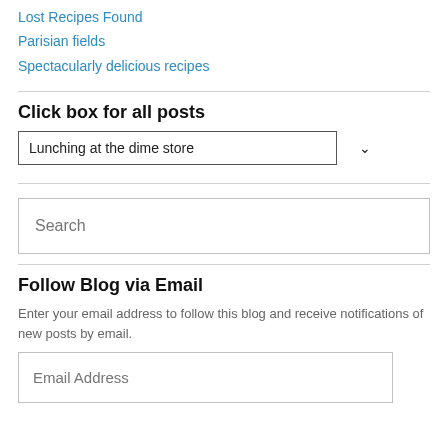Lost Recipes Found
Parisian fields
Spectacularly delicious recipes
Click box for all posts
Lunching at the dime store
Search
Follow Blog via Email
Enter your email address to follow this blog and receive notifications of new posts by email.
Email Address